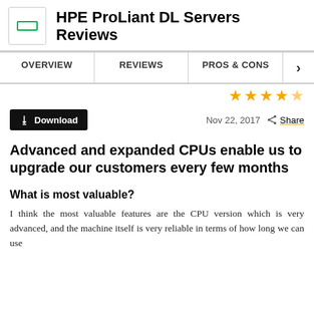HPE ProLiant DL Servers Reviews
OVERVIEW | REVIEWS | PROS & CONS
Advanced and expanded CPUs enable us to upgrade our customers every few months
What is most valuable?
I think the most valuable features are the CPU version which is very advanced, and the machine itself is very reliable in terms of how long we can use